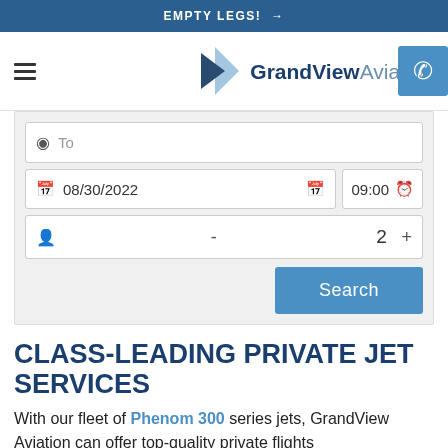EMPTY LEGS! →
[Figure (logo): GrandView Aviation logo with triangular arrow icon and company name]
[Figure (screenshot): Flight search form with To field, date 08/30/2022, time 09:00, passenger count 2, and Search button]
CLASS-LEADING PRIVATE JET SERVICES
With our fleet of Phenom 300 series jets, GrandView Aviation can offer top-quality private flights.